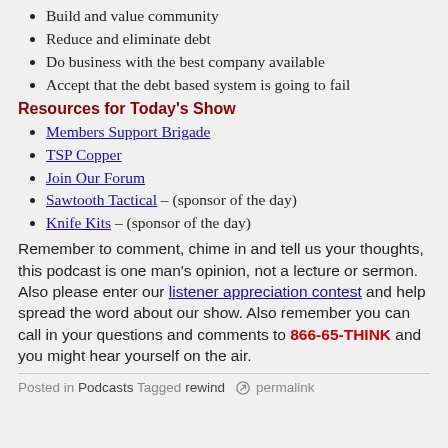Build and value community
Reduce and eliminate debt
Do business with the best company available
Accept that the debt based system is going to fail
Resources for Today's Show
Members Support Brigade
TSP Copper
Join Our Forum
Sawtooth Tactical – (sponsor of the day)
Knife Kits – (sponsor of the day)
Remember to comment, chime in and tell us your thoughts, this podcast is one man's opinion, not a lecture or sermon. Also please enter our listener appreciation contest and help spread the word about our show. Also remember you can call in your questions and comments to 866-65-THINK and you might hear yourself on the air.
Posted in Podcasts Tagged rewind  permalink